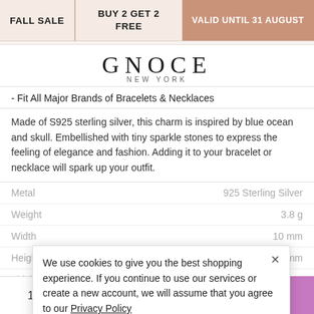FALL SALE | BUY 2 GET 2 FREE | VALID UNTIL 31 AUGUST
[Figure (logo): GNOCE NEW YORK logo in serif typeface]
- Fit All Major Brands of Bracelets & Necklaces
Made of S925 sterling silver, this charm is inspired by blue ocean and skull. Embellished with tiny sparkle stones to express the feeling of elegance and fashion. Adding it to your bracelet or necklace will spark up your outfit.
| Property | Value |
| --- | --- |
| Metal | 925 Sterling Silver |
| Weight | 3.8 g |
| Width | 10 mm |
| Height | 11.5 mm |
| Thickness | 11.5 mm |
| Inner Diameter | 4.5 mm |
We use cookies to give you the best shopping experience. If you continue to use our services or create a new account, we will assume that you agree to our Privacy Policy
ACCEPT
1  Add to Bag